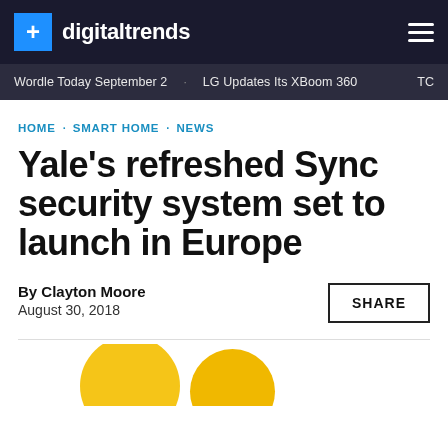digitaltrends
Wordle Today September 2 · LG Updates Its XBoom 360 · TC
HOME · SMART HOME · NEWS
Yale's refreshed Sync security system set to launch in Europe
By Clayton Moore
August 30, 2018
SHARE
[Figure (photo): Partial yellow circular objects visible at the bottom of the page, likely product photo teaser]